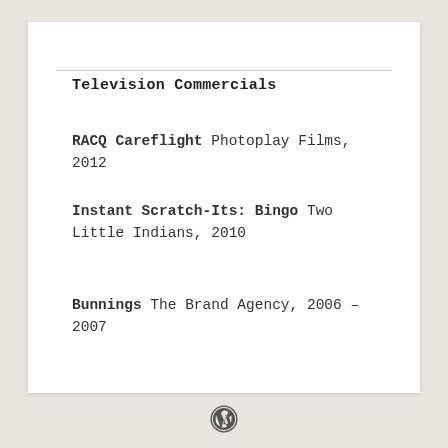Television Commercials
RACQ Careflight Photoplay Films, 2012
Instant Scratch-Its: Bingo Two Little Indians, 2010
Bunnings The Brand Agency, 2006 – 2007
WordPress logo